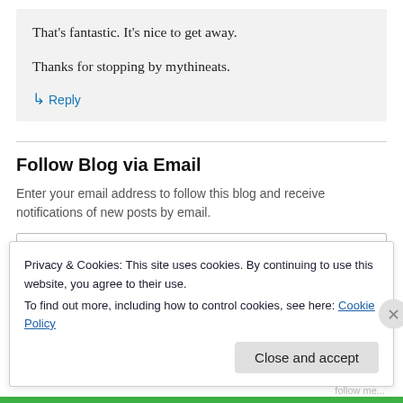That's fantastic. It's nice to get away.

Thanks for stopping by mythineats.
↳ Reply
Follow Blog via Email
Enter your email address to follow this blog and receive notifications of new posts by email.
Privacy & Cookies: This site uses cookies. By continuing to use this website, you agree to their use.
To find out more, including how to control cookies, see here: Cookie Policy